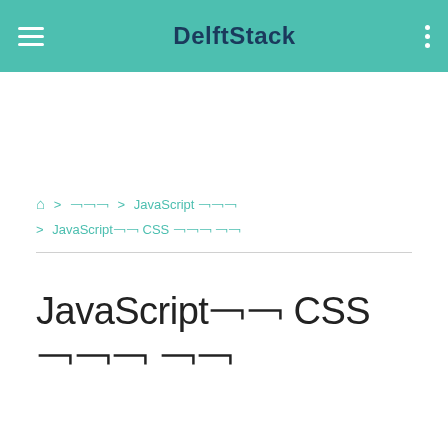DelftStack
🏠 > 홈페이지 > JavaScript 자습서 > JavaScript로 CSS 스타일 추가
JavaScript로 CSS 스타일 추가